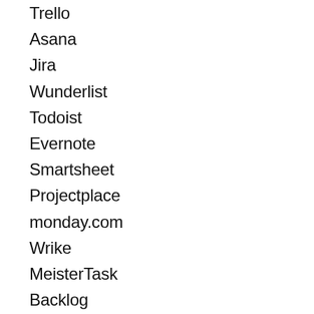Trello
Asana
Jira
Wunderlist
Todoist
Evernote
Smartsheet
Projectplace
monday.com
Wrike
MeisterTask
Backlog
Teamwork Projects
TeamGantt
Workfront
Paymo
Google Drive and Hangouts